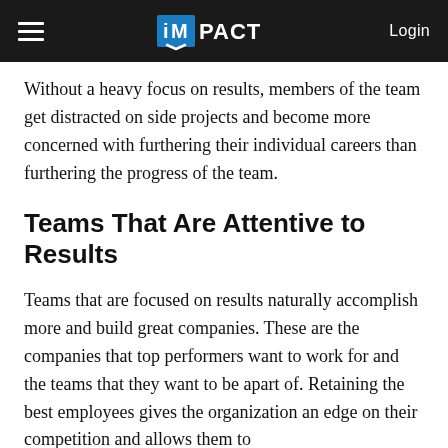iMPACT | Login
Without a heavy focus on results, members of the team get distracted on side projects and become more concerned with furthering their individual careers than furthering the progress of the team.
Teams That Are Attentive to Results
Teams that are focused on results naturally accomplish more and build great companies. These are the companies that top performers want to work for and the teams that they want to be apart of. Retaining the best employees gives the organization an edge on their competition and allows them to